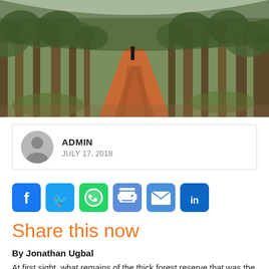[Figure (photo): A person carrying items on their head walking along a red dirt road through a sparse forest with trees on both sides]
ADMIN
JULY 17, 2018
[Figure (infographic): Social media share buttons: Facebook, Twitter, WhatsApp, Print, Email, LinkedIn]
Share this now
By Jonathan Ugbal
At first sight, what remains of the thick forest reserve that was the